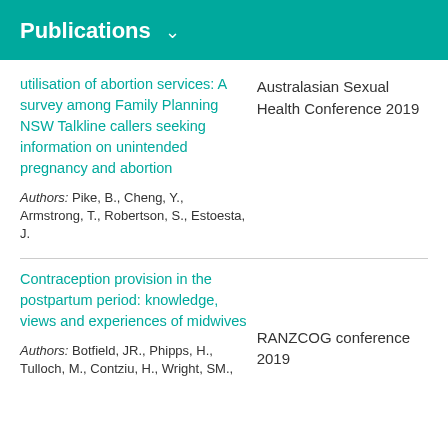Publications
utilisation of abortion services: A survey among Family Planning NSW Talkline callers seeking information on unintended pregnancy and abortion
Australasian Sexual Health Conference 2019
Authors: Pike, B., Cheng, Y., Armstrong, T., Robertson, S., Estoesta, J.
Contraception provision in the postpartum period: knowledge, views and experiences of midwives
RANZCOG conference 2019
Authors: Botfield, JR., Phipps, H., Tulloch, M., Contziu, H., Wright, SM.,